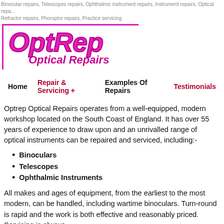Binocular repairs, Telescopes repairs, Ophthalmic instrument repairs, Instrument repairs, Optical repairs, Refractor repairs, Phoroptor repairs, Practice servicing
[Figure (logo): OptRep Optical Repairs logo with magenta italic bold text and magenta L-shaped border]
Home  Repair & Servicing +  Examples Of Repairs  Testimonials
Optrep Optical Repairs operates from a well-equipped, modern workshop located on the South Coast of England. It has over 55 years of experience to draw upon and an unrivalled range of optical instruments can be repaired and serviced, including:-
Binoculars
Telescopes
Ophthalmic Instruments
All makes and ages of equipment, from the earliest to the most modern, can be handled, including wartime binoculars. Turn-round is rapid and the work is both effective and reasonably priced. Servicing is always